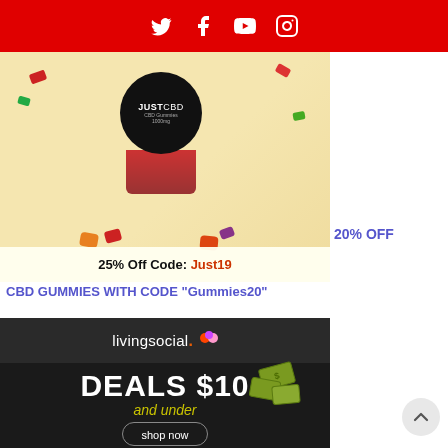Social media icons: Twitter, Facebook, YouTube, Instagram
[Figure (photo): JustCBD CBD Gummies product advertisement with jar of gummies, colorful gummy candies scattered. Text: 25% Off Code: Just19]
20% OFF CBD GUMMIES WITH CODE "Gummies20"
[Figure (photo): LivingSocial advertisement on dark background with logo, flying money graphics, text: DEALS $10 and under, shop now button]